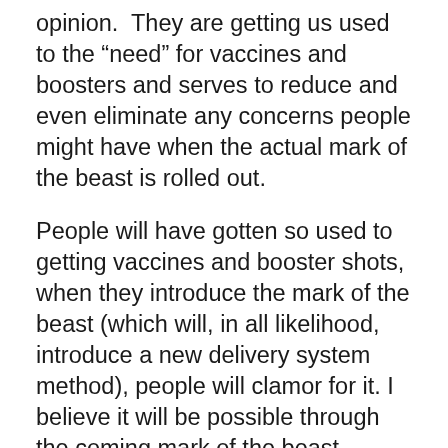opinion.  They are getting us used to the “need” for vaccines and boosters and serves to reduce and even eliminate any concerns people might have when the actual mark of the beast is rolled out.
People will have gotten so used to getting vaccines and booster shots, when they introduce the mark of the beast (which will, in all likelihood, introduce a new delivery system method), people will clamor for it. I believe it will be possible through the coming mark of the beast system that with the many scanning stations that will be needed, people will constantly be able to update their “mark” with the newest information and also receive the newest “booster” vaccines through the same delivery system. I could be